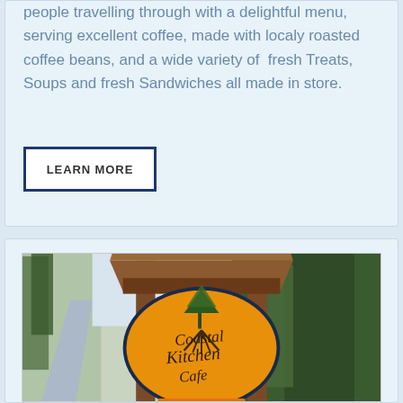people travelling through with a delightful menu, serving excellent coffee, made with localy roasted coffee beans, and a wide variety of fresh Treats, Soups and fresh Sandwiches all made in store.
LEARN MORE
[Figure (photo): Outdoor wooden sign structure with an oval orange sign reading 'Coastal Kitchen Cafe' with a tree and roots illustration, surrounded by trees and a road visible in the background. A small orange sign is visible below.]